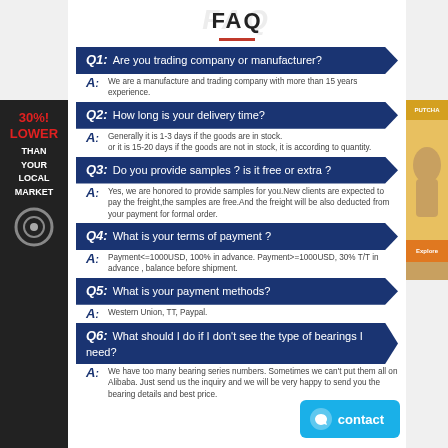FAQ
Q1: Are you trading company or manufacturer?
A: We are a manufacture and trading company with more than 15 years experience.
Q2: How long is your delivery time?
A: Generally it is 1-3 days if the goods are in stock. or it is 15-20 days if the goods are not in stock, it is according to quantity.
Q3: Do you provide samples ? is it free or extra ?
A: Yes, we are honored to provide samples for you.New clients are expected to pay the freight,the samples are free.And the freight will be also deducted from your payment for formal order.
Q4: What is your terms of payment ?
A: Payment<=1000USD, 100% in advance. Payment>=1000USD, 30% T/T in advance , balance before shipment.
Q5: What is your payment methods?
A: Western Union, TT, Paypal.
Q6: What should I do if I don't see the type of bearings I need?
A: We have too many bearing series numbers. Sometimes we can't put them all on Alibaba. Just send us the inquiry and we will be very happy to send you the bearing details and best price.